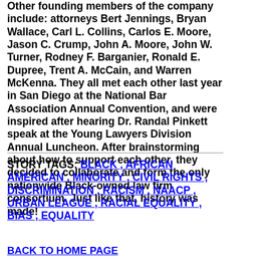Other founding members of the company include: attorneys Bert Jennings, Bryan Wallace, Carl L. Collins, Carlos E. Moore, Jason C. Crump, John A. Moore, John W. Turner, Rodney F. Barganier, Ronald E. Dupree, Trent A. McCain, and Warren McKenna. They all met each other last year in San Diego at the National Bar Association Annual Convention, and were inspired after hearing Dr. Randal Pinkett speak at the Young Lawyers Division Annual Luncheon. After brainstorming about how to support each other, they decided to collaborate and form the only nationwide Black-owned law firm consortium. Just like that, history was made!
STORY TAGS: BLACK , AFRICAN AMERICAN , MINORITY , CIVIL RIGHTS , DISCRIMINATION , RACISM , NAACP , URBAN LEAGUE , RACIAL EQUALITY , BIAS , EQUALITY
BACK TO HOME PAGE